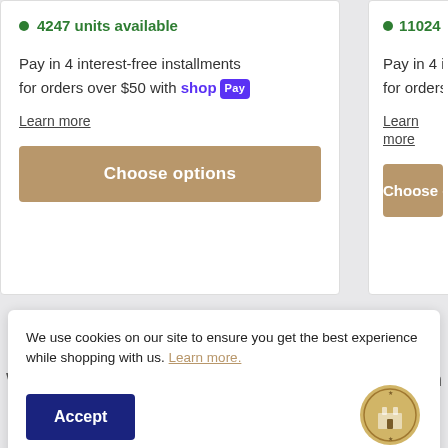4247 units available
Pay in 4 interest-free installments for orders over $50 with Shop Pay
Learn more
Choose options
11024 units available
Pay in 4 interest-free for orders over $50
Learn more
Choose o
[Figure (illustration): Secure checkout icon showing a server/database with a lock symbol]
We use cookies on our site to ensure you get the best experience while shopping with us. Learn more.
Accept
[Figure (logo): Round gold/bronze store logo]
conventional credit cards, we make it easy to complete your